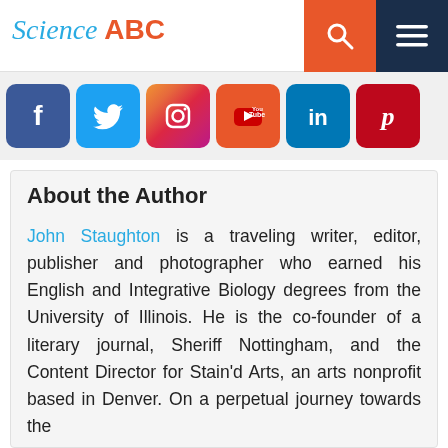Science ABC
[Figure (infographic): Social media icon buttons row: Facebook, Twitter, Instagram, YouTube, LinkedIn, Pinterest]
About the Author
John Staughton is a traveling writer, editor, publisher and photographer who earned his English and Integrative Biology degrees from the University of Illinois. He is the co-founder of a literary journal, Sheriff Nottingham, and the Content Director for Stain'd Arts, an arts nonprofit based in Denver. On a perpetual journey towards the